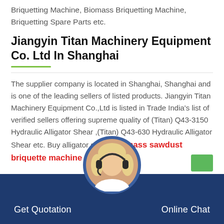Briquetting Machine, Biomass Briquetting Machine, Briquetting Spare Parts etc.
Jiangyin Titan Machinery Equipment Co. Ltd In Shanghai
The supplier company is located in Shanghai, Shanghai and is one of the leading sellers of listed products. Jiangyin Titan Machinery Equipment Co.,Ltd is listed in Trade India’s list of verified sellers offering supreme quality of (Titan) Q43-3150 Hydraulic Alligator Shear ,(Titan) Q43-630 Hydraulic Alligator Shear etc. Buy alligator shear .biomass sawdust briquette machine in india…
Get Quotation    Online Chat